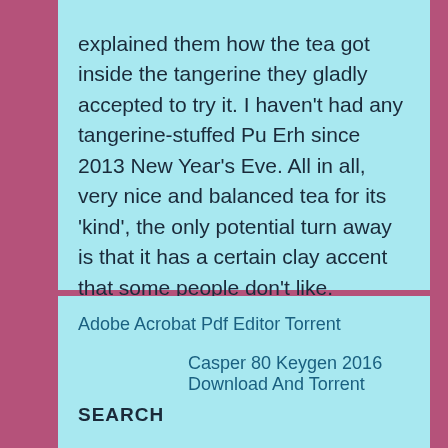explained them how the tea got inside the tangerine they gladly accepted to try it. I haven't had any tangerine-stuffed Pu Erh since 2013 New Year's Eve. All in all, very nice and balanced tea for its 'kind', the only potential turn away is that it has a certain clay accent that some people don't like.
Adobe Acrobat Pdf Editor Torrent
Casper 80 Keygen 2016 Download And Torrent
SEARCH